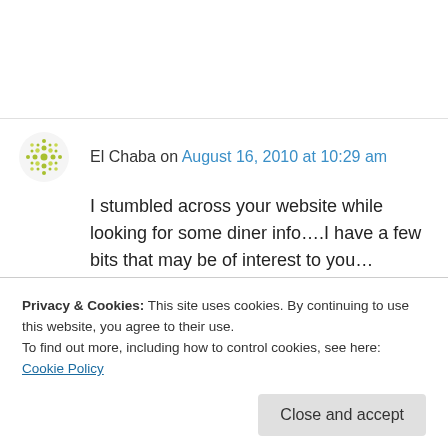El Chaba on August 16, 2010 at 10:29 am
I stumbled across your website while looking for some diner info....I have a few bits that may be of interest to you...Oxford, PA has the ‘Miss Oxford Diner” which is very unmolested inside. The breakfast is awesome...and the owners “get Lancaster....just across from the train station.
Privacy & Cookies: This site uses cookies. By continuing to use this website, you agree to their use.
To find out more, including how to control cookies, see here: Cookie Policy